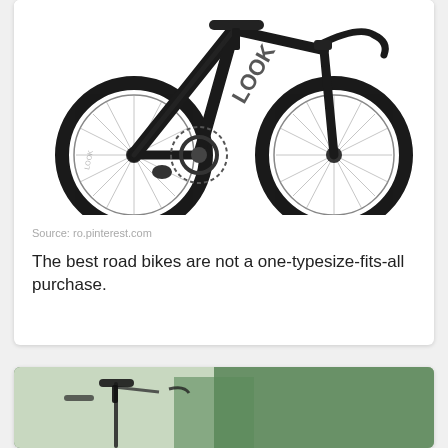[Figure (photo): Black LOOK brand road bike on white background, side profile view]
Source: ro.pinterest.com
The best road bikes are not a one-typesize-fits-all purchase.
[Figure (photo): Road bike saddle and frame visible outdoors with trees in background]